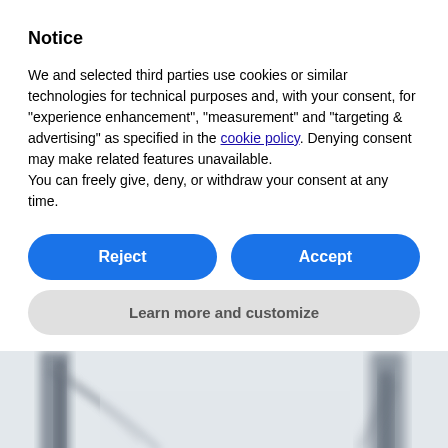Notice
We and selected third parties use cookies or similar technologies for technical purposes and, with your consent, for “experience enhancement”, “measurement” and “targeting & advertising” as specified in the cookie policy. Denying consent may make related features unavailable.
You can freely give, deny, or withdraw your consent at any time.
[Figure (screenshot): Two blue rounded buttons labeled 'Reject' and 'Accept', and a gray rounded button labeled 'Learn more and customize']
[Figure (photo): Blurry black and white photograph of industrial or construction equipment, with cranes or machinery visible against a light sky background]